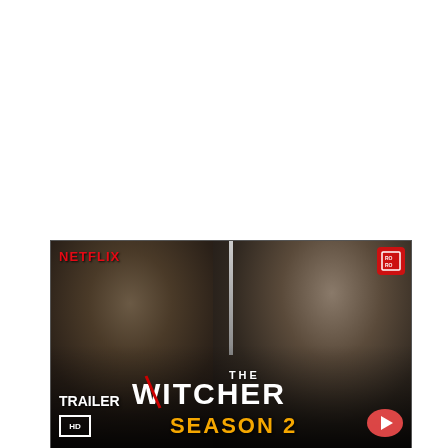[Figure (photo): The Witcher Season 2 Netflix trailer thumbnail. Shows two characters back-to-back: a dark-haired man on the left and silver-haired man (Geralt) on the right, with a sword between them. Netflix logo top left. TRAILER HD text bottom left. THE WITCHER title in white, SEASON 2 in yellow/gold. Red icon top right. YouTube play button bottom right.]